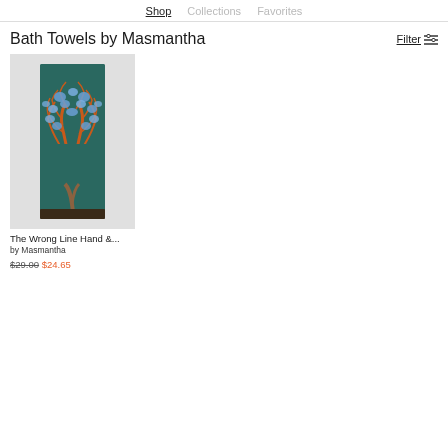Shop   Collections   Favorites
Bath Towels by Masmantha
Filter
[Figure (photo): A bath towel with artistic design featuring a tree with orange/red branches and blue mosaic-like leaf pattern against a dark teal background, displayed on a light gray background.]
The Wrong Line Hand &...
by Masmantha
$29.00  $24.65